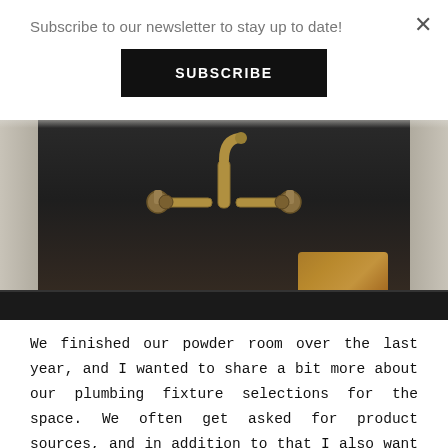Subscribe to our newsletter to stay up to date!
SUBSCRIBE
[Figure (photo): Close-up interior photo of a dark slate/soapstone sink with vintage brass bridge faucet mounted on the back wall. The sink interior is very dark charcoal/black, walls are off-white/beige, and a golden/amber textured cloth or towel sits in the bottom right of the sink basin.]
We finished our powder room over the last year, and I wanted to share a bit more about our plumbing fixture selections for the space. We often get asked for product sources, and in addition to that I also want to share the process I often take when sourcing fixtures for a